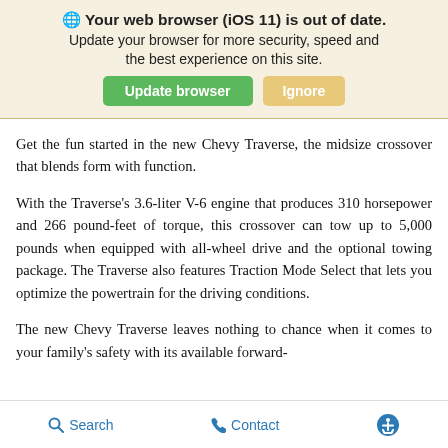[Figure (screenshot): Browser update notification banner with globe icon, bold warning text, and two buttons: 'Update browser' (green) and 'Ignore' (tan/yellow)]
Get the fun started in the new Chevy Traverse, the midsize crossover that blends form with function.
With the Traverse's 3.6-liter V-6 engine that produces 310 horsepower and 266 pound-feet of torque, this crossover can tow up to 5,000 pounds when equipped with all-wheel drive and the optional towing package. The Traverse also features Traction Mode Select that lets you optimize the powertrain for the driving conditions.
The new Chevy Traverse leaves nothing to chance when it comes to your family’s safety with its available forward-
Search   Contact   [Accessibility icon]